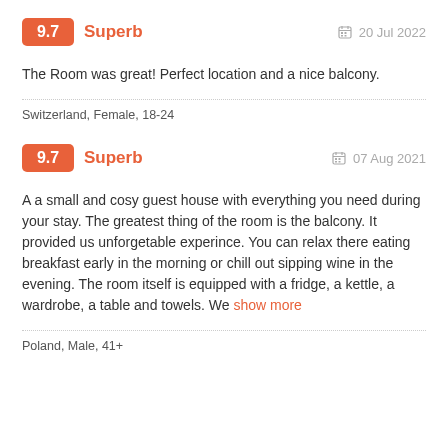9.7 Superb — 20 Jul 2022
The Room was great! Perfect location and a nice balcony.
Switzerland, Female, 18-24
9.7 Superb — 07 Aug 2021
A a small and cosy guest house with everything you need during your stay. The greatest thing of the room is the balcony. It provided us unforgetable experince. You can relax there eating breakfast early in the morning or chill out sipping wine in the evening. The room itself is equipped with a fridge, a kettle, a wardrobe, a table and towels. We show more
Poland, Male, 41+